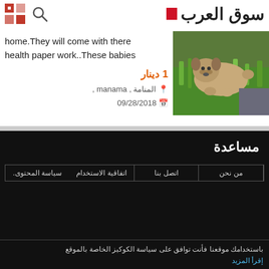[Figure (logo): Souk Al Arab logo with grid icon on the left, search icon, Bahrain flag and Arabic brand name on the right]
home.They will come with there health paper work..These babies
1 دينار
المنامة , manama , 09/28/2018
[Figure (photo): A pug dog lying on green grass]
مساعدة
من نحن   اتصل بنا   اتفاقية الاستخدام   سياسة المحتوى.
تنبيه! هذا الموقع للربط بين البائع والمشتري دون وساطة. إذا طلب منك أحد المعلنين دفع ولو سنت قبل حصولك على المنتج فأنت تتعرض لعملية نصب. لا تدفع أي مبلغ حتى تحصل على منتجك كاملا غير منقوص! سوق العرب غير مسؤولة عن الإعلانات المعروضة!
أوافق!
باستخدامك موقعنا فأنت توافق على سياسة الكوكيز الخاصة بالموقع إقرأ المزيد